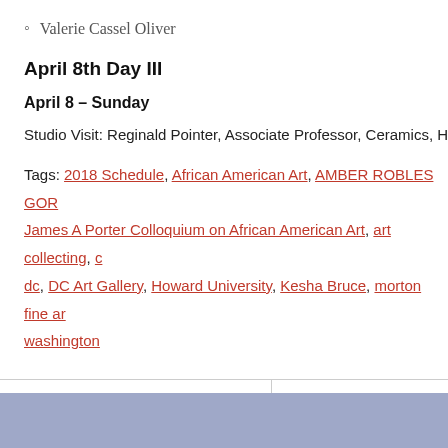Valerie Cassel Oliver
April 8th Day III
April 8 – Sunday
Studio Visit: Reginald Pointer, Associate Professor, Ceramics, Howard
Tags: 2018 Schedule, African American Art, AMBER ROBLES GOR…, James A Porter Colloquium on African American Art, art collecting, c…, dc, DC Art Gallery, Howard University, Kesha Bruce, morton fine ar…, washington
| COMMENTS | CATEGORIES |
| --- | --- |
| Leave a Comment | MFA Art News |